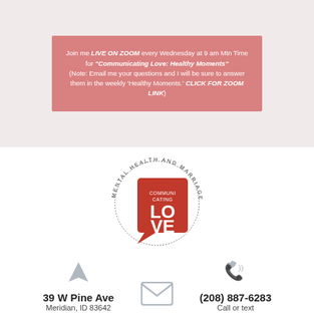Join me LIVE ON ZOOM every Wednesday at 9 am Mtn Time for "Communicating Love: Healthy Moments" (Note: Email me your questions and I will be sure to answer them in the weekly 'Healthy Moments.' CLICK FOR ZOOM LINK)
[Figure (logo): Communicating Love mental health and marriage circular logo with red speech bubble containing LO VE text]
39 W Pine Ave
Meridian, ID 83642
(208) 887-6283
Call or text